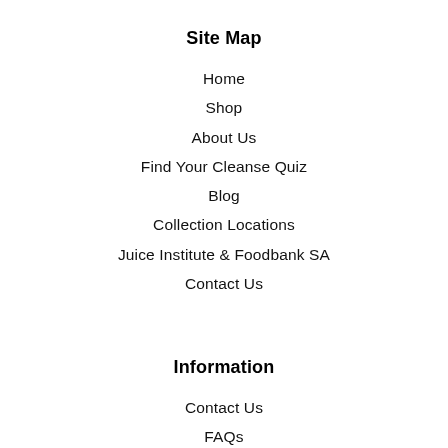Site Map
Home
Shop
About Us
Find Your Cleanse Quiz
Blog
Collection Locations
Juice Institute & Foodbank SA
Contact Us
Information
Contact Us
FAQs
Collection Locations
Juice Institute & Foodbank SA
Reduce, Recycle, Reuse